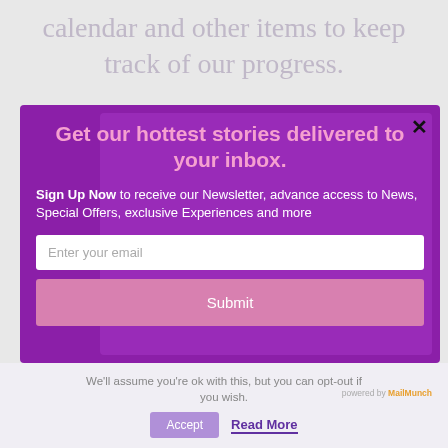calendar and other items to keep track of our progress.
[Figure (screenshot): Email newsletter signup modal popup with purple background. Contains heading 'Get our hottest stories delivered to your inbox.', body text about signing up, email input field, and Submit button.]
We'll assume you're ok with this, but you can opt-out if you wish.
Accept  Read More